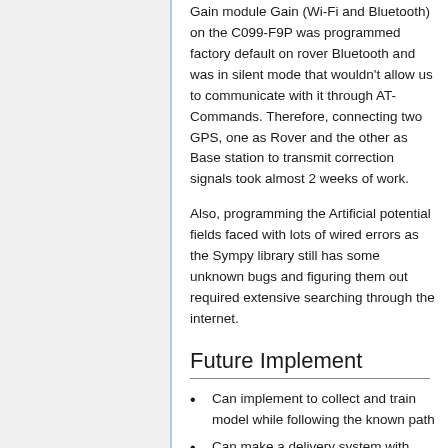Gain module Gain (Wi-Fi and Bluetooth) on the C099-F9P was programmed factory default on rover Bluetooth and was in silent mode that wouldn't allow us to communicate with it through AT-Commands. Therefore, connecting two GPS, one as Rover and the other as Base station to transmit correction signals took almost 2 weeks of work.
Also, programming the Artificial potential fields faced with lots of wired errors as the Sympy library still has some unknown bugs and figuring them out required extensive searching through the internet.
Future Implement
Can implement to collect and train model while following the known path
Can make a delivery system with